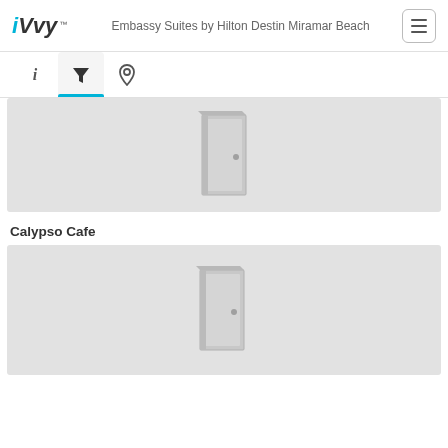iVvy - Embassy Suites by Hilton Destin Miramar Beach
[Figure (screenshot): Navigation tab bar with info (i), filter (funnel icon, active with blue underline), and location pin icons]
[Figure (photo): Gray placeholder image with a 3D door icon in the center, representing a venue room]
Calypso Cafe
[Figure (photo): Gray placeholder image with a 3D door icon in the center, representing Calypso Cafe venue]